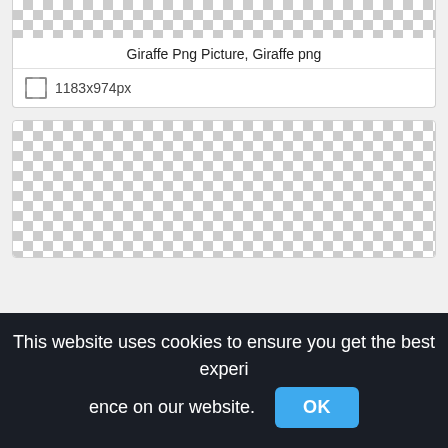[Figure (other): Checkered transparency pattern placeholder (top card, cropped at top)]
Giraffe Png Picture, Giraffe png
1183x974px
[Figure (other): Checkered transparency pattern placeholder (second card)]
This website uses cookies to ensure you get the best experience on our website.